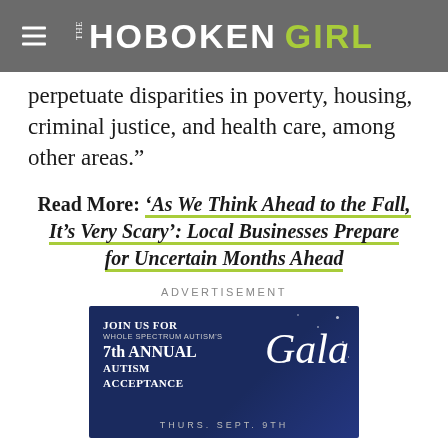THE HOBOKEN GIRL
perpetuate disparities in poverty, housing, criminal justice, and health care, among other areas.”
Read More: ‘As We Think Ahead to the Fall, It’s Very Scary’: Local Businesses Prepare for Uncertain Months Ahead
ADVERTISEMENT
[Figure (other): Advertisement for Whole Spectrum Autism's 7th Annual Autism Acceptance Gala, dark navy blue background with decorative script text and sparkles, text reads: JOIN US FOR WHOLE SPECTRUM AUTISM'S 7th ANNUAL AUTISM ACCEPTANCE Gala THURS. SEPT. 9TH]